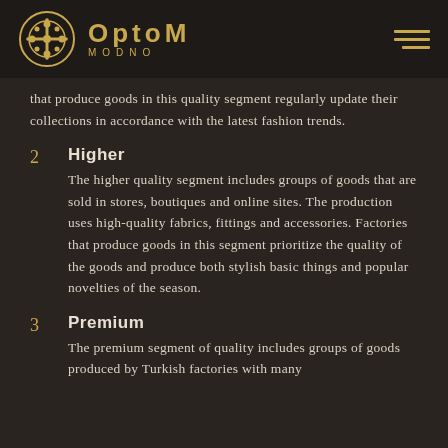OPTOM MODNO
that produce goods in this quality segment regularly update their collections in accordance with the latest fashion trends.
2 Higher
The higher quality segment includes groups of goods that are sold in stores, boutiques and online sites. The production uses high-quality fabrics, fittings and accessories. Factories that produce goods in this segment prioritize the quality of the goods and produce both stylish basic things and popular novelties of the season.
3 Premium
The premium segment of quality includes groups of goods produced by Turkish factories with many